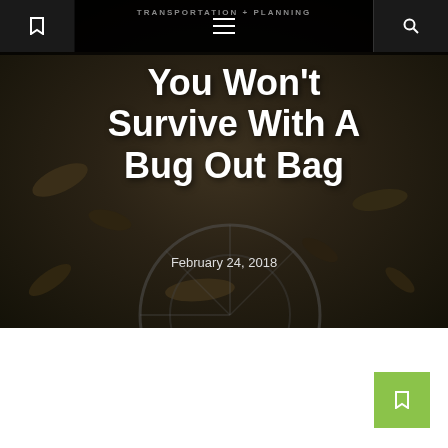TRANSPORTATION + PLANNING
You Won't Survive With A Bug Out Bag
February 24, 2018
[Figure (photo): Dark earthy background with leaves and a bicycle wheel visible, serving as hero image for article about bug out bags]